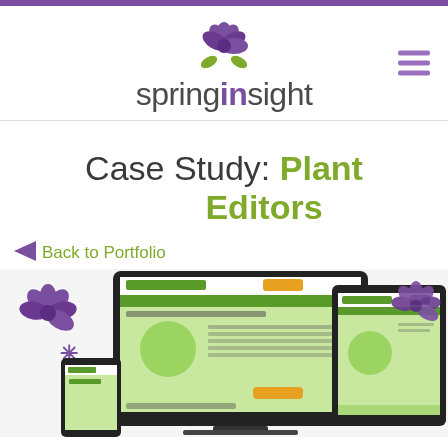[Figure (logo): Spring Insight logo with purple flower and green leaves, text 'springinsight' with hamburger menu icon]
Case Study: Plant Editors
Back to Portfolio
[Figure (screenshot): Screenshot of Plant Editors cooperative website shown on laptop/monitor, tablet, and phone mockups, with decorative purple flowers]